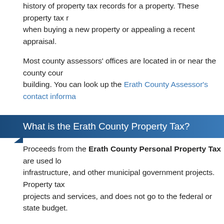history of property tax records for a property. These property tax records are useful when buying a new property or appealing a recent appraisal.
Most county assessors' offices are located in or near the county courthouse building. You can look up the Erath County Assessor's contact informa...
What is the Erath County Property Tax?
Proceeds from the Erath County Personal Property Tax are used lo... infrastructure, and other municipal government projects. Property tax... projects and services, and does not go to the federal or state budget.
Unlike other taxes which are restricted to an individual, the Erath Cou... property. Unpaid property tax can lead to a property tax lien, which... the responsibility of the current owner of the property. Tax liens are no... property, or even filing for bankruptcy. Property tax delinquency can re... also attached to the property title.
In cases of extreme property tax delinquency, the Erath County Tax B... offer it for sale at a public tax foreclosure auction, often at a price w... first go to pay the property's tax lien, and additional proceeds may be...